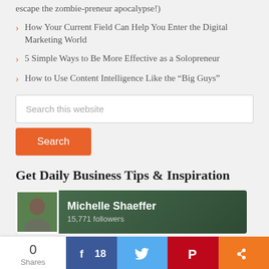escape the zombie-preneur apocalypse!)
How Your Current Field Can Help You Enter the Digital Marketing World
5 Simple Ways to Be More Effective as a Solopreneur
How to Use Content Intelligence Like the “Big Guys”
Get Daily Business Tips & Inspiration
[Figure (other): Michelle Shaeffer social media profile card showing photo, name, and 15,771 followers on a dark green background]
[Figure (other): Social share bar with 0 Shares count, Facebook share button with 18 count, Twitter share button, Pinterest share button, and more share button]